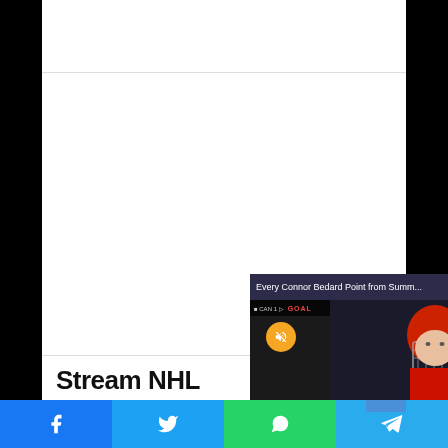[Figure (screenshot): Web page screenshot with a hockey video popup showing 'Every Connor Bedard Point from Summ...' with a close button, GOAL banner, mute button, and hockey player in helmet. Below is 'Stream NHL' text heading. Bottom shows social share buttons for Facebook, Twitter, WhatsApp, and Telegram.]